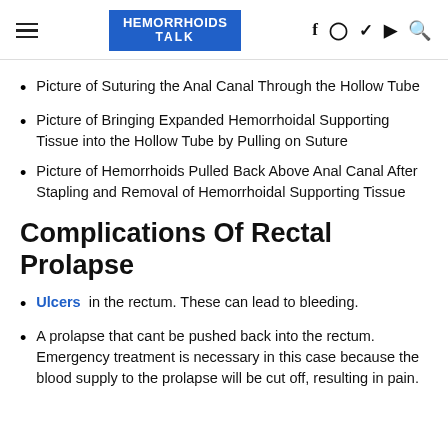HEMORRHOIDS TALK
Picture of Suturing the Anal Canal Through the Hollow Tube
Picture of Bringing Expanded Hemorrhoidal Supporting Tissue into the Hollow Tube by Pulling on Suture
Picture of Hemorrhoids Pulled Back Above Anal Canal After Stapling and Removal of Hemorrhoidal Supporting Tissue
Complications Of Rectal Prolapse
Ulcers in the rectum. These can lead to bleeding.
A prolapse that cant be pushed back into the rectum. Emergency treatment is necessary in this case because the blood supply to the prolapse will be cut off, resulting in pain.